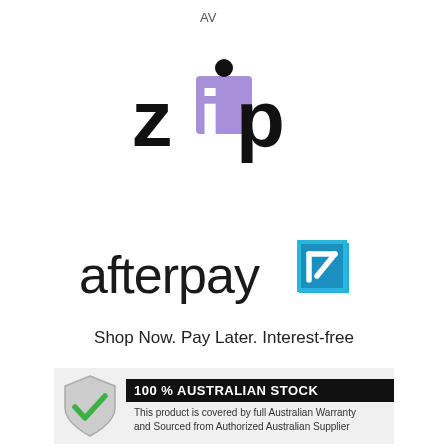AV
[Figure (logo): Zip logo — bold black letters 'z' and 'p' with a purple/lavender square forming the 'i', with a black dot above it]
[Figure (logo): Afterpay logo — lowercase 'afterpay' in dark/black sans-serif with a teal/blue geometric arrow icon to the right]
Shop Now. Pay Later. Interest-free
[Figure (infographic): Australian stock badge: grey shield with green checkmark on left, black banner saying '100 % AUSTRALIAN STOCK', text below: 'This product is covered by full Australian Warranty and Sourced from Authorized Australian Supplier']